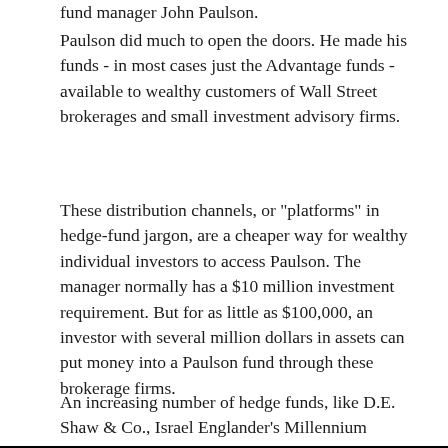fund manager John Paulson.
Paulson did much to open the doors. He made his funds - in most cases just the Advantage funds - available to wealthy customers of Wall Street brokerages and small investment advisory firms.
These distribution channels, or "platforms" in hedge-fund jargon, are a cheaper way for wealthy individual investors to access Paulson. The manager normally has a $10 million investment requirement. But for as little as $100,000, an investor with several million dollars in assets can put money into a Paulson fund through these brokerage firms.
An increasing number of hedge funds, like D.E. Shaw & Co., Israel Englander's Millennium Management and Daniel Loeb's Third Point, are available to wealthy clients